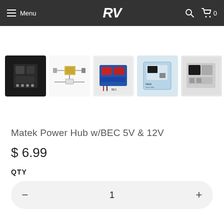Menu | RV | 🔍 | 🛒 0
[Figure (photo): Product thumbnail strip showing 5 images of Matek Power Hub w/BEC 5V & 12V: PCB board photo, schematic diagram, component close-up, packaged product, and another view]
Matek Power Hub w/BEC 5V & 12V
$ 6.99
QTY
1